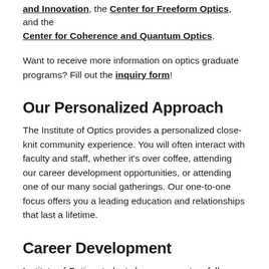and Innovation, the Center for Freeform Optics, and the Center for Coherence and Quantum Optics.
Want to receive more information on optics graduate programs? Fill out the inquiry form!
Our Personalized Approach
The Institute of Optics provides a personalized close-knit community experience. You will often interact with faculty and staff, whether it's over coffee, attending our career development opportunities, or attending one of our many social gatherings. Our one-to-one focus offers you a leading education and relationships that last a lifetime.
Career Development
Institute of Optics students have access to a full range of professional development services to enhance their career